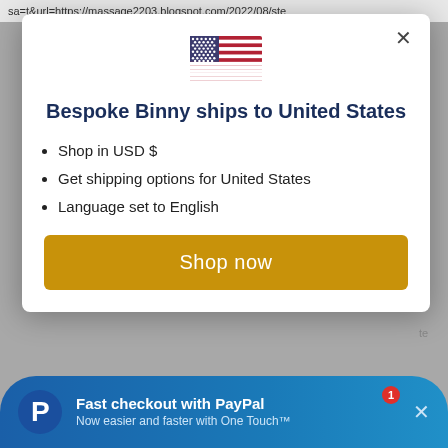sa=t&url=https://massage2203.blogspot.com/2022/08/ste
[Figure (illustration): US flag emoji/icon centered at top of modal]
Bespoke Binny ships to United States
Shop in USD $
Get shipping options for United States
Language set to English
Shop now
Fast checkout with PayPal
Now easier and faster with One Touch™